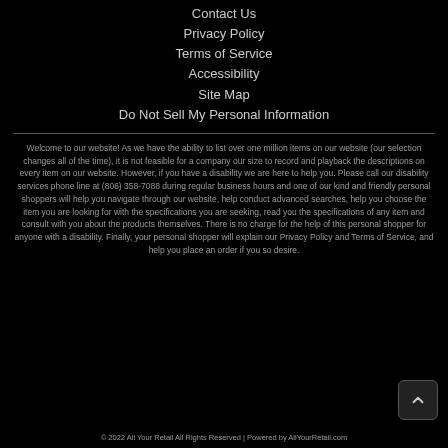Contact Us
Privacy Policy
Terms of Service
Accessibility
Site Map
Do Not Sell My Personal Information
Welcome to our website! As we have the ability to list over one million items on our website (our selection changes all of the time), it is not feasible for a company our size to record and playback the descriptions on every item on our website. However, if you have a disability we are here to help you. Please call our disability services phone line at (806) 358-7088 during regular business hours and one of our kind and friendly personal shoppers will help you navigate through our website, help conduct advanced searches, help you choose the item you are looking for with the specifications you are seeking, read you the specifications of any item and consult with you about the products themselves. There is no charge for the help of this personal shopper for anyone with a disability. Finally, your personal shopper will explain our Privacy Policy and Terms of Service, and help you place an order if you so desire.
© 2022 All Your Retail All Rights Reserved | Powered by AllYourRetail.com